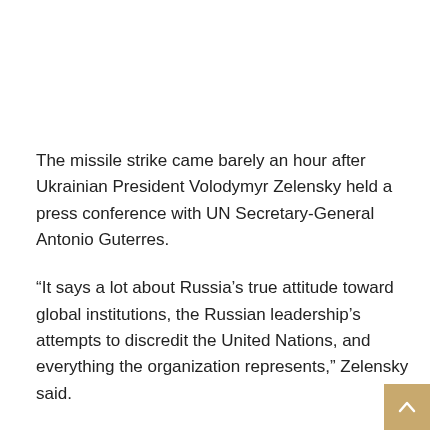The missile strike came barely an hour after Ukrainian President Volodymyr Zelensky held a press conference with UN Secretary-General Antonio Guterres.
“It says a lot about Russia’s true attitude toward global institutions, the Russian leadership’s attempts to discredit the United Nations, and everything the organization represents,” Zelensky said.